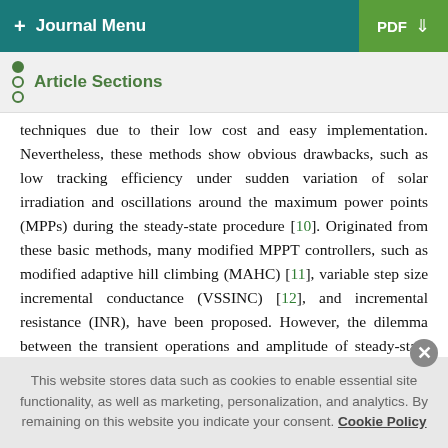+ Journal Menu   PDF ↓
Article Sections
techniques due to their low cost and easy implementation. Nevertheless, these methods show obvious drawbacks, such as low tracking efficiency under sudden variation of solar irradiation and oscillations around the maximum power points (MPPs) during the steady-state procedure [10]. Originated from these basic methods, many modified MPPT controllers, such as modified adaptive hill climbing (MAHC) [11], variable step size incremental conductance (VSSINC) [12], and incremental resistance (INR), have been proposed. However, the dilemma between the transient operations and amplitude of steady-state oscillations has not been solved perfectly [11]. Furthermore, the
This website stores data such as cookies to enable essential site functionality, as well as marketing, personalization, and analytics. By remaining on this website you indicate your consent. Cookie Policy